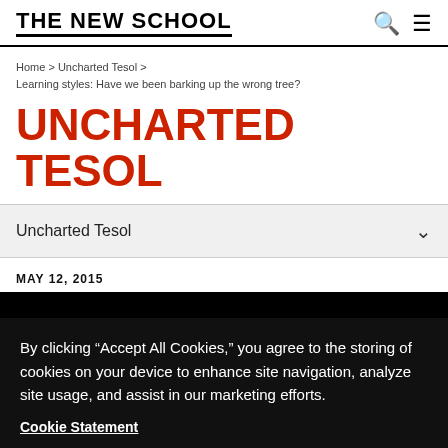THE NEW SCHOOL
Home > Uncharted Tesol > Learning styles: Have we been barking up the wrong tree?
UNCHARTED TESOL
Uncharted Tesol
MAY 12, 2015
By clicking “Accept All Cookies,” you agree to the storing of cookies on your device to enhance site navigation, analyze site usage, and assist in our marketing efforts.
Cookie Statement
Customize Settings
Accept All Cookies